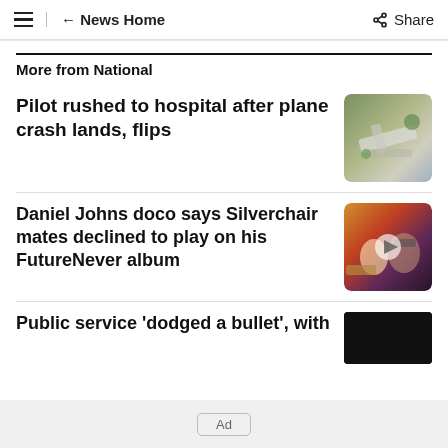≡ ← News Home  Share
More from National
Pilot rushed to hospital after plane crash lands, flips
[Figure (photo): A crashed small plane, flipped, with emergency responders visible in background]
Daniel Johns doco says Silverchair mates declined to play on his FutureNever album
[Figure (photo): A couple at a concert or event, woman with blonde hair and man with sunglasses, with play button overlay]
Public service 'dodged a bullet', with
[Figure (photo): Dark/black image thumbnail with close button]
Ad